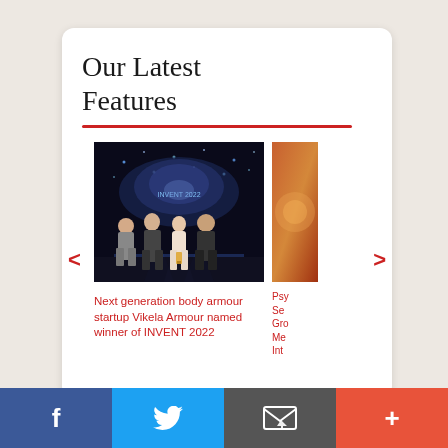Our Latest Features
[Figure (photo): Photo of four people standing together at an event with a starfield/galaxy display backdrop, labeled INVENT 2022]
Next generation body armour startup Vikela Armour named winner of INVENT 2022
[Figure (photo): Partially visible photo with warm orange/brown tones, appears to be a space or science related image]
Psy Se Gro Me Int